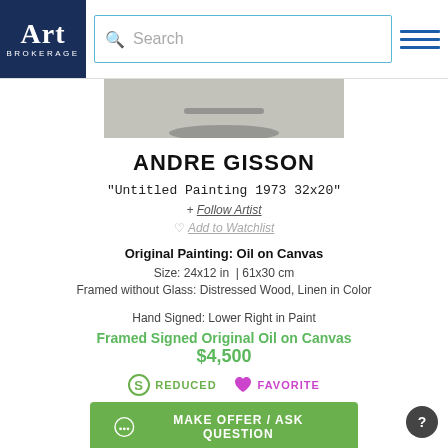Art Brokerage | Search
[Figure (photo): Partial view of a painting, gray tones visible at bottom of image strip]
ANDRE GISSON
"Untitled Painting 1973 32x20"
+ Follow Artist
Add to Watchlist
Original Painting: Oil on Canvas
Size: 24x12 in  | 61x30 cm
Framed without Glass: Distressed Wood, Linen in Color
Hand Signed: Lower Right in Paint
Framed Signed Original Oil on Canvas
$4,500
REDUCED   FAVORITE
MAKE OFFER / ASK QUESTION